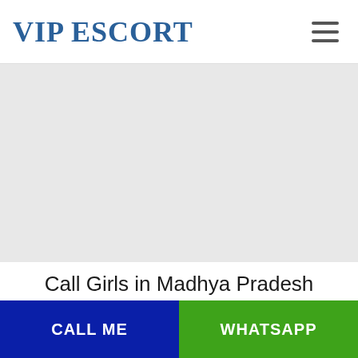VIP ESCORT
[Figure (other): Gray placeholder image area]
Call Girls in Madhya Pradesh
CALL ME | WHATSAPP